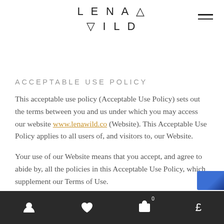LENA WILD
ACCEPTABLE USE POLICY
This acceptable use policy (Acceptable Use Policy) sets out the terms between you and us under which you may access our website www.lenawild.co (Website). This Acceptable Use Policy applies to all users of, and visitors to, our Website.
Your use of our Website means that you accept, and agree to abide by, all the policies in this Acceptable Use Policy, which supplement our Terms of Use.
PROHIBITED USES
You may use our Website only for lawful purposes. You may
account | wishlist | cart (0) | £